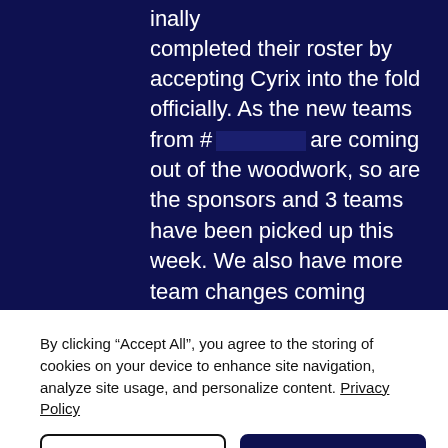inally completed their roster by accepting Cyrix into the fold officially. As the new teams from # [redacted] are coming out of the woodwork, so are the sponsors and 3 teams have been picked up this week. We also have more team changes coming through the teams as they look to find the winning combination. A turbulent but exciting time for OCE Rocket League.
By clicking “Accept All”, you agree to the storing of cookies on your device to enhance site navigation, analyze site usage, and personalize content. Privacy Policy
Settings
Accept All